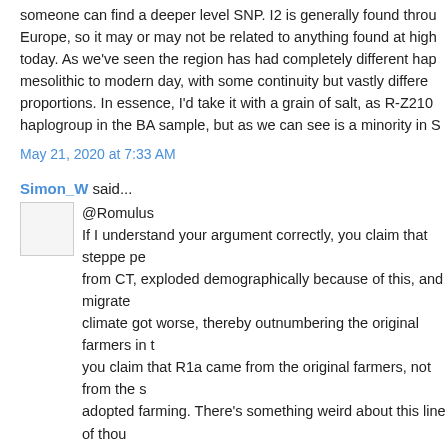someone can find a deeper level SNP. I2 is generally found throu Europe, so it may or may not be related to anything found at high today. As we've seen the region has had completely different hap mesolithic to modern day, with some continuity but vastly differe proportions. In essence, I'd take it with a grain of salt, as R-Z210 haplogroup in the BA sample, but as we can see is a minority in S
May 21, 2020 at 7:33 AM
Simon_W said...
@Romulus
If I understand your argument correctly, you claim that steppe pe from CT, exploded demographically because of this, and migrate climate got worse, thereby outnumbering the original farmers in t you claim that R1a came from the original farmers, not from the s adopted farming. There's something weird about this line of thou
May 21, 2020 at 7:38 AM
Samuel Andrews said...
Romulus, has good point to say CT farmers only one in archaeol large population. But, everything else in his theory doesn't work.
May 21, 2020 at 11:59 AM